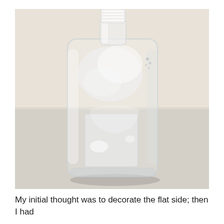[Figure (photo): Close-up photograph of a clear glass bottle with a white cap, sitting on a light gray surface against a beige/white background. The bottle is rectangular with rounded edges and appears empty and transparent, showing light reflections and distortions through the glass.]
My initial thought was to decorate the flat side; then I had